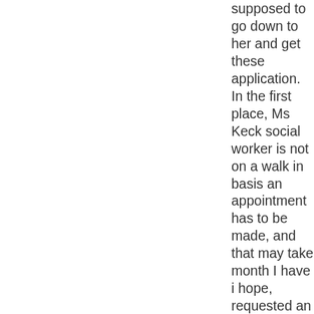supposed to go down to her and get these application. In the first place, Ms Keck social worker is not on a walk in basis an appointment has to be made, and that may take month I have i hope, requested an explantion of her announcement, that a grant form can be